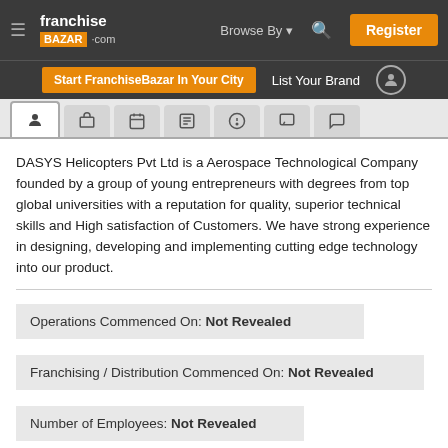[Figure (screenshot): FranchiseBazar.com website header navigation bar with logo, Browse By dropdown, search icon, and Register button]
[Figure (screenshot): Secondary navigation bar with Start FranchiseBazar In Your City button, List Your Brand link, and user profile icon]
[Figure (screenshot): Tab bar with icons for profile, briefcase, calendar, newspaper, question, image, and chat]
DASYS Helicopters Pvt Ltd is a Aerospace Technological Company founded by a group of young entrepreneurs with degrees from top global universities with a reputation for quality, superior technical skills and High satisfaction of Customers. We have strong experience in designing, developing and implementing cutting edge technology into our product.
Operations Commenced On: Not Revealed
Franchising / Distribution Commenced On: Not Revealed
Number of Employees: Not Revealed